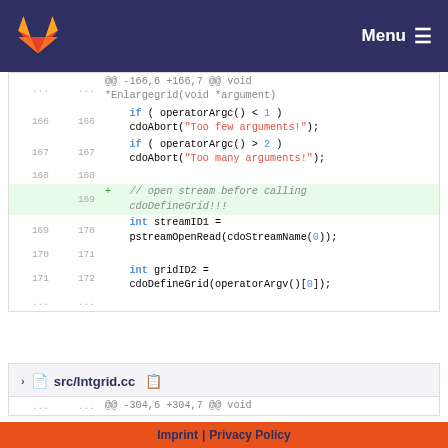Menu
[Figure (screenshot): GitLab diff view showing code changes in a C source file. Lines 166-171 are shown with old/new line numbers. A new comment line '// open stream before calling cdoDefineGrid!!!' is added at line 169. Code includes if statements checking operatorArgc(), cdoAbort calls with string arguments, and int variable declarations for streamID1 and gridID2.]
src/Intgrid.cc
@@ -304,6 +304,7 @@ void
Imprint | Privacy Policy